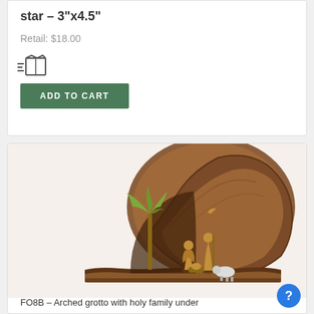star – 3"x4.5"
Retail: $18.00
[Figure (illustration): Shipping/delivery box icon with speed lines]
ADD TO CART
[Figure (photo): Wooden olive wood nativity scene: arched grotto made from a natural wood slab with bark edges, featuring carved figures of holy family under a palm tree on a flat base]
FO8B – Arched grotto with holy family under